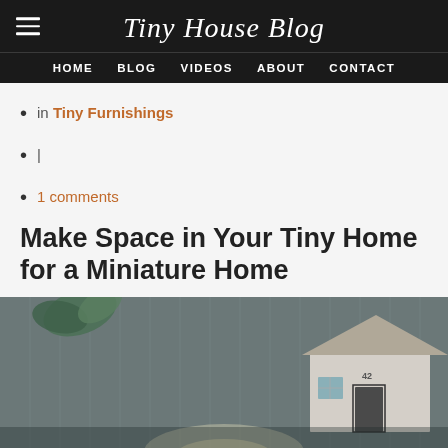Tiny House Blog
HOME  BLOG  VIDEOS  ABOUT  CONTACT
in Tiny Furnishings
|
1 comments
Make Space in Your Tiny Home for a Miniature Home
[Figure (photo): A miniature house model with grey siding, a small door with numbers, and a green plant, photographed on a dark background with soft lighting.]